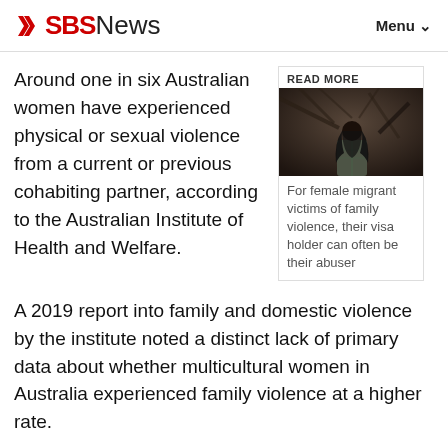SBS News   Menu
Around one in six Australian women have experienced physical or sexual violence from a current or previous cohabiting partner, according to the Australian Institute of Health and Welfare.
[Figure (photo): A woman with long dark hair seen from behind, standing among trees or branches, in a dark outdoor setting. Part of a 'Read More' sidebar box with caption.]
For female migrant victims of family violence, their visa holder can often be their abuser
A 2019 report into family and domestic violence by the institute noted a distinct lack of primary data about whether multicultural women in Australia experienced family violence at a higher rate.